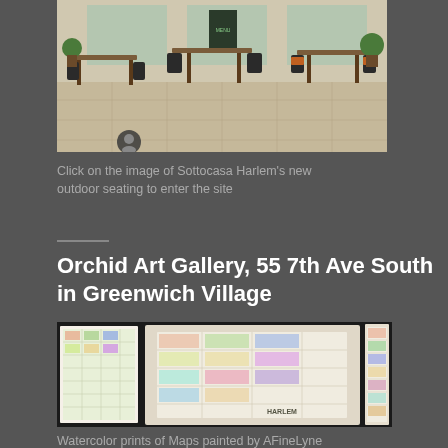[Figure (photo): Interior photo of Sottocasa Harlem restaurant showing outdoor/patio seating area with wooden tables and chairs on a tiled floor]
Click on the image of Sottocasa Harlem's new outdoor seating to enter the site
Orchid Art Gallery, 55 7th Ave South in Greenwich Village
[Figure (photo): Framed watercolor prints of illustrated maps displayed at Orchid Art Gallery, showing detailed hand-painted neighborhood maps including one labeled Harlem]
Watercolor prints of Maps painted by AFineLyne